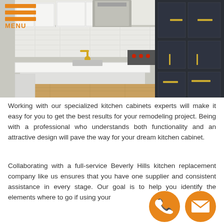MENU
[Figure (photo): Kitchen interior with white cabinets, gold faucet, white countertop island, stainless steel range hood, dark navy/black cabinetry with gold handles on the right side, wood floor.]
Working with our specialized kitchen cabinets experts will make it easy for you to get the best results for your remodeling project. Being with a professional who understands both functionality and an attractive design will pave the way for your dream kitchen cabinet.
Collaborating with a full-service Beverly Hills kitchen replacement company like us ensures that you have one supplier and consistent assistance in every stage. Our goal is to help you identify the elements where to go if using your